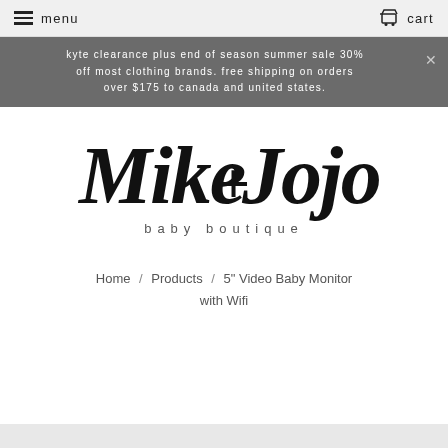menu   cart
kyte clearance plus end of season summer sale 30% off most clothing brands. free shipping on orders over $175 to canada and united states.
[Figure (logo): Mike + Jojo baby boutique logo in handwritten script style]
Home / Products / 5" Video Baby Monitor with Wifi